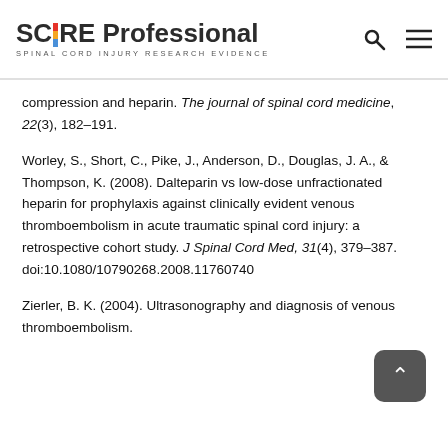SCIRE Professional – SPINAL CORD INJURY RESEARCH EVIDENCE
compression and heparin. The journal of spinal cord medicine, 22(3), 182–191.
Worley, S., Short, C., Pike, J., Anderson, D., Douglas, J. A., & Thompson, K. (2008). Dalteparin vs low-dose unfractionated heparin for prophylaxis against clinically evident venous thromboembolism in acute traumatic spinal cord injury: a retrospective cohort study. J Spinal Cord Med, 31(4), 379–387. doi:10.1080/10790268.2008.11760740
Zierler, B. K. (2004). Ultrasonography and diagnosis of venous thromboembolism.